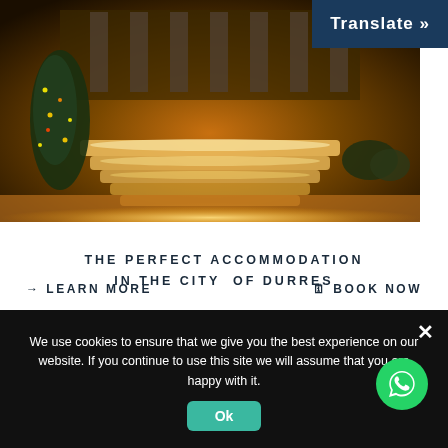[Figure (photo): Nighttime exterior photo of hotel with illuminated steps, warm golden lighting, Christmas tree on the left, classical columns in the background]
Translate »
THE PERFECT ACCOMMODATION IN THE CITY OF DURRES
VH Prime Villa Pascucci Durres Hotel
→ LEARN MORE
BOOK NOW
We use cookies to ensure that we give you the best experience on our website. If you continue to use this site we will assume that you are happy with it.
Ok